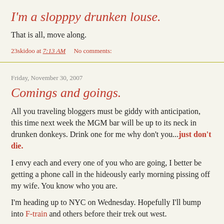I'm a slopppy drunken louse.
That is all, move along.
23skidoo at 7:13 AM    No comments:
Friday, November 30, 2007
Comings and goings.
All you traveling bloggers must be giddy with anticipation, this time next week the MGM bar will be up to its neck in drunken donkeys. Drink one for me why don't you...just don't die.
I envy each and every one of you who are going, I better be getting a phone call in the hideously early morning pissing off my wife. You know who you are.
I'm heading up to NYC on Wednesday. Hopefully I'll bump into F-train and others before their trek out west.